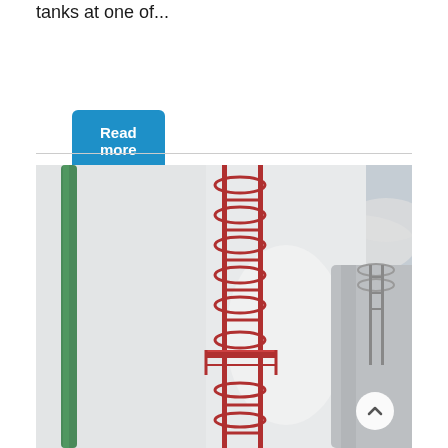tanks at one of...
Read more
[Figure (photo): Industrial storage tanks with red metal cage ladder/staircase structure. A large white cylindrical tank dominates the left and center of the image with a green pipe/column on the left edge. A red caged ladder runs vertically up the tank. In the background to the right is a smaller grey tank also with a ladder cage structure. Overcast cloudy sky in the background.]